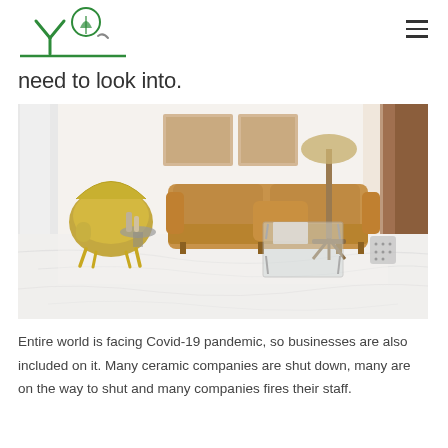[Logo: green leaf/plant icon with stylized Y shape]
need to look into.
[Figure (photo): Interior living room scene with white marble-look floor tiles, a tan leather sofa with cushions, a gold velvet accent chair, a tripod floor lamp, a glass-top coffee table, framed artwork on the wall, and a brown curtain on the right.]
Entire world is facing Covid-19 pandemic, so businesses are also included on it. Many ceramic companies are shut down, many are on the way to shut and many companies fires their staff.